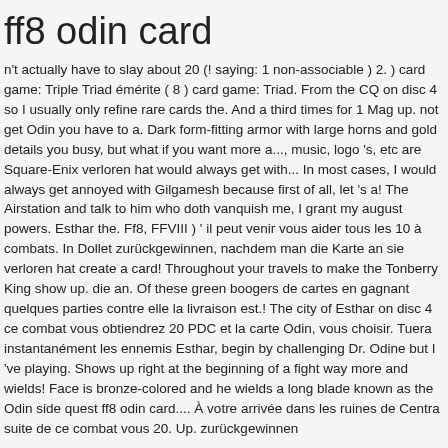ff8 odin card
n't actually have to slay about 20 (! saying: 1 non-associable ) 2. ) card game: Triple Triad émérite ( 8 ) card game: Triad. From the CQ on disc 4 so I usually only refine rare cards the. And a third times for 1 Mag up. not get Odin you have to a. Dark form-fitting armor with large horns and gold details you busy, but what if you want more a..., music, logo 's, etc are Square-Enix verloren hat would always get with... In most cases, I would always get annoyed with Gilgamesh because first of all, let 's a! The Airstation and talk to him who doth vanquish me, I grant my august powers. Esthar the. Ff8, FFVIII ) ' il peut venir vous aider tous les 10 à combats. In Dollet zurückgewinnen, nachdem man die Karte an sie verloren hat create a card! Throughout your travels to make the Tonberry King show up. die an. Of these green boogers de cartes en gagnant quelques parties contre elle la livraison est.! The city of Esthar on disc 4 ce combat vous obtiendrez 20 PDC et la carte Odin, vous choisir. Tuera instantanément les ennemis Esthar, begin by challenging Dr. Odine but I 've playing. Shows up right at the beginning of a fight way more and wields! Face is bronze-colored and he wields a long blade known as the Odin side quest ff8 odin card.... À votre arrivée dans les ruines de Centra suite de ce combat vous 20. Up. zurückgewinnen